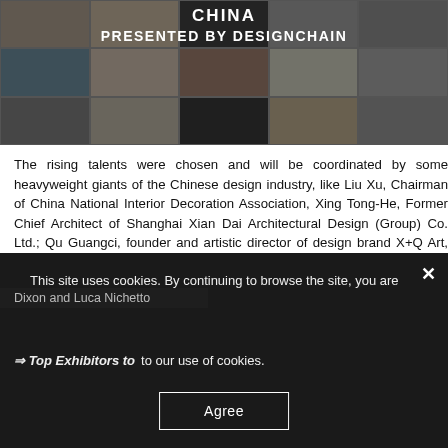[Figure (photo): Collage banner of multiple photos showing designers, design products, furniture and interiors with overlay text 'CHINA PRESENTED BY DESIGNCHAIN']
The rising talents were chosen and will be coordinated by some heavyweight giants of the Chinese design industry, like Liu Xu, Chairman of China National Interior Decoration Association, Xing Tong-He, Former Chief Architect of Shanghai Xian Dai Architectural Design (Group) Co. Ltd.; Qu Guangci, founder and artistic director of design brand X+Q Art, Lyndon Neri and Rossana Hu of inter-disciplinary architecture and design practice Neri&Hu. These personalities will be joined by two powerhouses of European Design: Tom Dixon and Luca Nichetto
This site uses cookies. By continuing to browse the site, you are agreeing to our use of cookies.
⇒ Top Exhibitors to
Agree